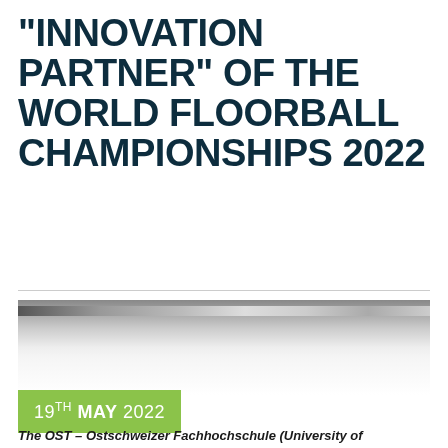"INNOVATION PARTNER" OF THE WORLD FLOORBALL CHAMPIONSHIPS 2022
[Figure (photo): Photograph of a floorball stick or arena — partially visible at top, showing a horizontal bar or stick element against a light background]
19TH MAY 2022
The OST – Ostschweizer Fachhochschule (University of